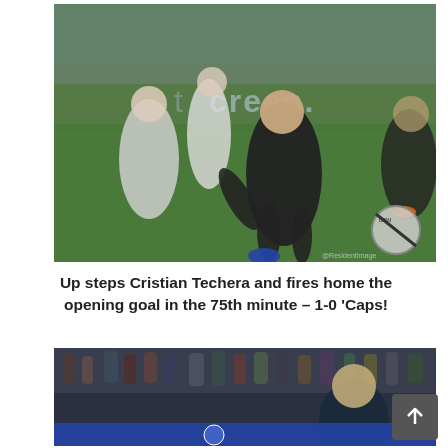[Figure (photo): Soccer/football action photo: a player in a black uniform (Vancouver Whitecaps) striking the ball during a match at night. Opposing players in white uniforms visible in background. Stadium setting with advertising boards visible. Watermark with circular logo and '@ResidentImage' text in bottom right corner.]
Up steps Cristian Techera and fires home the opening goal in the 75th minute – 1-0 'Caps!
[Figure (photo): Soccer match photo: players celebrating or reacting on the field with crowd visible in the background. Dark stadium setting with blue advertising boards at bottom.]